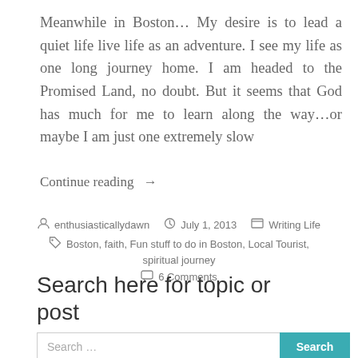Meanwhile in Boston… My desire is to lead a quiet life live life as an adventure. I see my life as one long journey home. I am headed to the Promised Land, no doubt. But it seems that God has much for me to learn along the way…or maybe I am just one extremely slow
Continue reading →
enthusiasticallydawn  July 1, 2013  Writing Life  Boston, faith, Fun stuff to do in Boston, Local Tourist, spiritual journey  6 Comments
Search here for topic or post